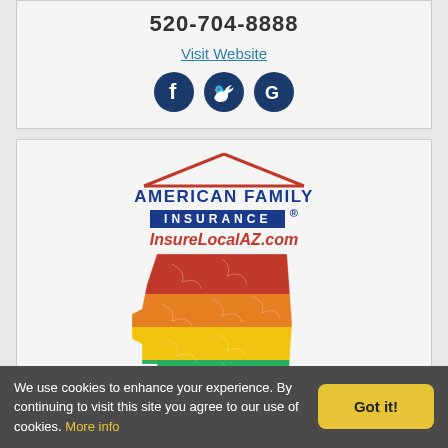520-704-8888
Visit Website
[Figure (logo): Social media icons: Facebook, Twitter, Google]
[Figure (logo): American Family Insurance logo with InsureLocalAZ.com text and colorful Arizona state map (red, orange, yellow, green bands)]
We use cookies to enhance your experience. By continuing to visit this site you agree to our use of cookies. More info